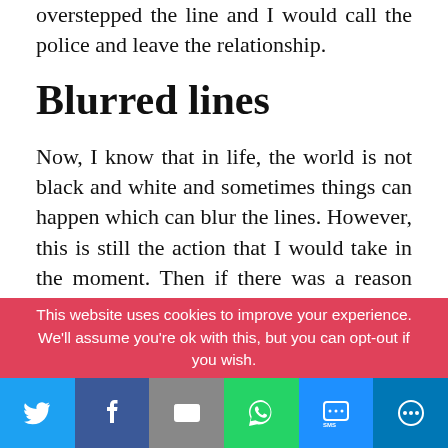overstepped the line and I would call the police and leave the relationship.
Blurred lines
Now, I know that in life, the world is not black and white and sometimes things can happen which can blur the lines. However, this is still the action that I would take in the moment. Then if there was a reason for the behaviour which explained it (nothing can excuse it) then one chance could be given if
This website uses cookies to improve your experience. We'll assume you're ok with this, but you can opt-out if you wish.
[Figure (infographic): Social media share bar with Twitter, Facebook, Email, WhatsApp, SMS, and More buttons]